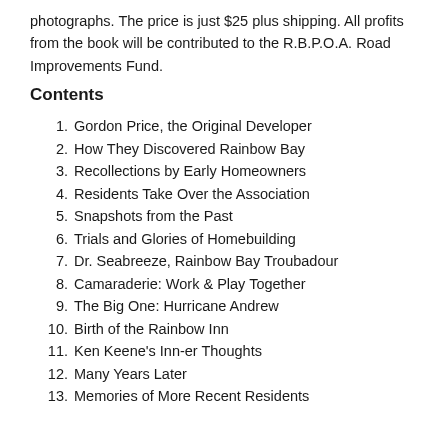photographs. The price is just $25 plus shipping. All profits from the book will be contributed to the R.B.P.O.A. Road Improvements Fund.
Contents
1. Gordon Price, the Original Developer
2. How They Discovered Rainbow Bay
3. Recollections by Early Homeowners
4. Residents Take Over the Association
5. Snapshots from the Past
6. Trials and Glories of Homebuilding
7. Dr. Seabreeze, Rainbow Bay Troubadour
8. Camaraderie: Work & Play Together
9. The Big One: Hurricane Andrew
10. Birth of the Rainbow Inn
11. Ken Keene's Inn-er Thoughts
12. Many Years Later
13. Memories of More Recent Residents